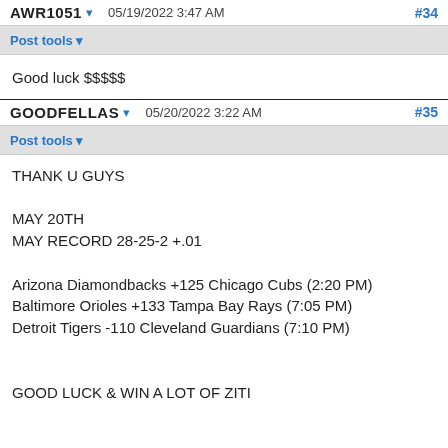AWR1051  05/19/2022 3:47 AM  #34
Post tools
Good luck $$$$$
GOODFELLAS  05/20/2022 3:22 AM  #35
Post tools
THANK U GUYS

MAY 20TH
MAY RECORD 28-25-2 +.01

Arizona Diamondbacks +125 Chicago Cubs (2:20 PM)
Baltimore Orioles +133 Tampa Bay Rays (7:05 PM)
Detroit Tigers -110 Cleveland Guardians (7:10 PM)


GOOD LUCK & WIN A LOT OF ZITI